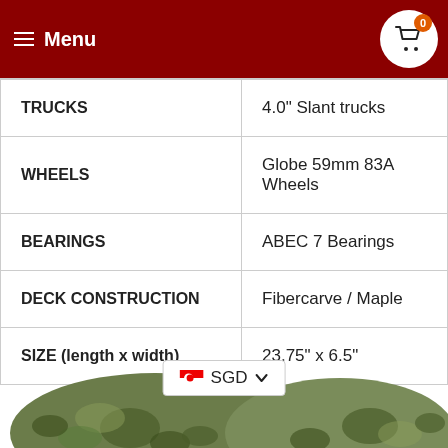Menu
|  |  |
| --- | --- |
| TRUCKS | 4.0" Slant trucks |
| WHEELS | Globe 59mm 83A Wheels |
| BEARINGS | ABEC 7 Bearings |
| DECK CONSTRUCTION | Fibercarve / Maple |
| SIZE (length x width) | 23.75" x 6.5" |
[Figure (photo): Camouflage skateboard decks partially visible at the bottom of the page, with a currency selector showing SGD (Singapore Dollar) with Singapore flag]